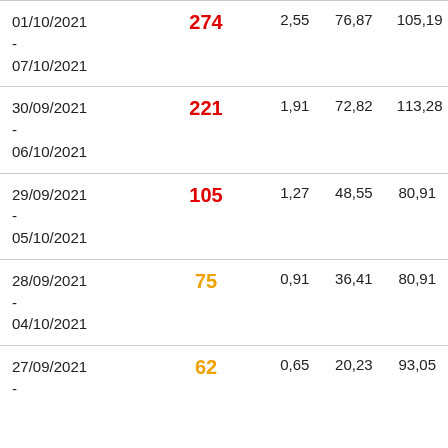| Date | Value1 | Val2 | Val3 | Val4 |
| --- | --- | --- | --- | --- |
| 01/10/2021 - 07/10/2021 | 274 | 2,55 | 76,87 | 105,19 |
| 30/09/2021 - 06/10/2021 | 221 | 1,91 | 72,82 | 113,28 |
| 29/09/2021 - 05/10/2021 | 105 | 1,27 | 48,55 | 80,91 |
| 28/09/2021 - 04/10/2021 | 75 | 0,91 | 36,41 | 80,91 |
| 27/09/2021 - ... | 62 | 0,65 | 20,23 | 93,05 |